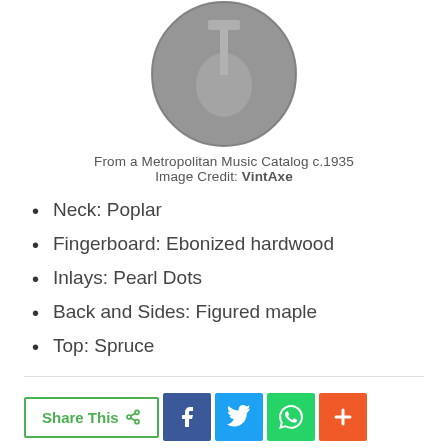[Figure (photo): Circular black and white photograph of a stringed instrument (guitar/banjo) from a Metropolitan Music Catalog circa 1935]
From a Metropolitan Music Catalog c.1935
Image Credit: VintAxe
Neck: Poplar
Fingerboard: Ebonized hardwood
Inlays: Pearl Dots
Back and Sides: Figured maple
Top: Spruce
Share This  [Facebook] [Twitter] [WhatsApp] [More]
https://www.snathanieladams.com/2022/06/the-other-